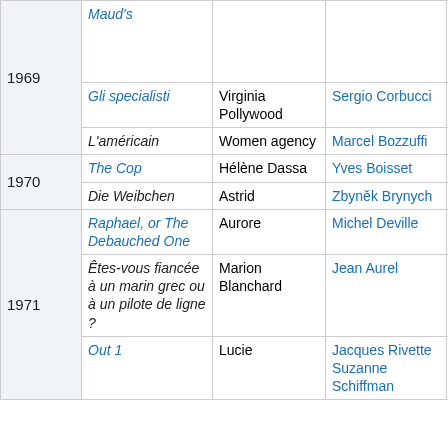| Year | Film | Role | Director | Notes |
| --- | --- | --- | --- | --- |
| 1969 | Maud's |  |  | New York Film Critics Circle Award for Best Supporting Actress |
|  | Gli specialisti | Virginia Pollywood | Sergio Corbucci |  |
|  | L'américain | Women agency | Marcel Bozzuffi |  |
| 1970 | The Cop | Hélène Dassa | Yves Boisset |  |
|  | Die Weibchen | Astrid | Zbyněk Brynych |  |
| 1971 | Raphael, or The Debauched One | Aurore | Michel Deville |  |
|  | Êtes-vous fiancée à un marin grec ou à un pilote de ligne ? | Marion Blanchard | Jean Aurel |  |
|  | Out 1 | Lucie | Jacques Rivette Suzanne Schiffman |  |